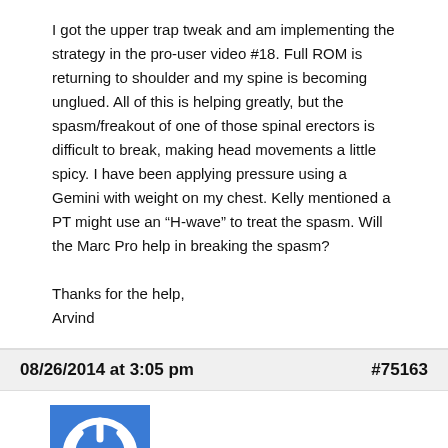I got the upper trap tweak and am implementing the strategy in the pro-user video #18. Full ROM is returning to shoulder and my spine is becoming unglued. All of this is helping greatly, but the spasm/freakout of one of those spinal erectors is difficult to break, making head movements a little spicy. I have been applying pressure using a Gemini with weight on my chest. Kelly mentioned a PT might use an “H-wave” to treat the spasm. Will the Marc Pro help in breaking the spasm?

Thanks for the help,
Arvind
08/26/2014 at 3:05 pm    #75163
Anonymous
An H-wave is different from a Marc Pro because it has the option of using high frequency.
The Marc Pro is low frequency.
Where do you live?